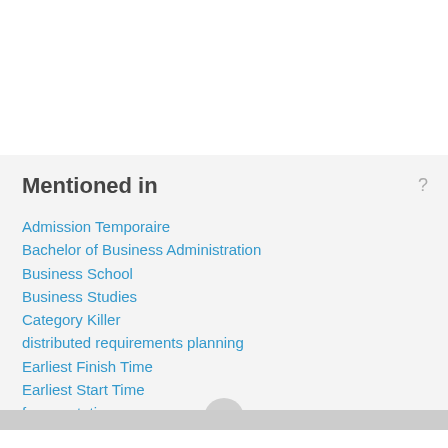Mentioned in
Admission Temporaire
Bachelor of Business Administration
Business School
Business Studies
Category Killer
distributed requirements planning
Earliest Finish Time
Earliest Start Time
fragmentation
Horizontal Agreement
Horizontal Expansion